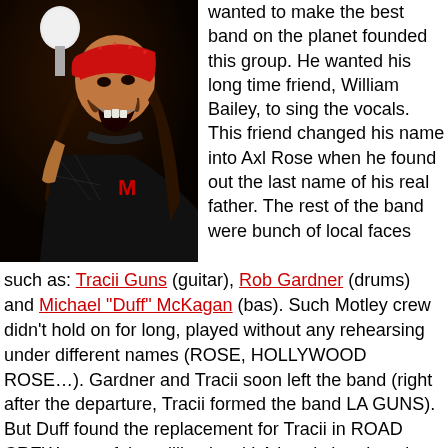[Figure (photo): Concert photo of a male rock singer wearing a red bandana, singing into a microphone, wearing a black mesh top, with long dark hair.]
wanted to make the best band on the planet founded this group. He wanted his long time friend, William Bailey, to sing the vocals. This friend changed his name into Axl Rose when he found out the last name of his real father. The rest of the band were bunch of local faces such as: Tracii Guns (guitar), Rob Gardner (drums) and Michael "Duff" McKagan (bas). Such Motley crew didn't hold on for long, played without any rehearsing under different names (ROSE, HOLLYWOOD ROSE…). Gardner and Tracii soon left the band (right after the departure, Tracii formed the band LA GUNS). But Duff found the replacement for Tracii in ROAD CREW, one of the million local LA bands he played with: Steven Adler (drums) and Saul "Slash" Hudson (guitar). And then it drew GUNS N' ROSES…